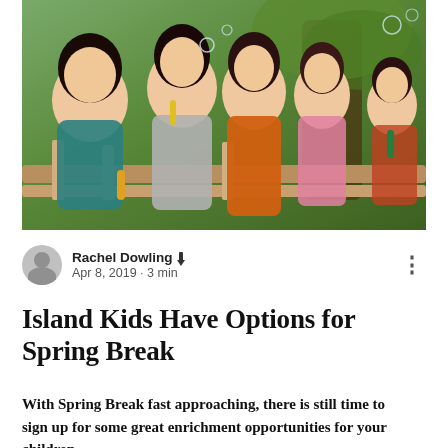[Figure (photo): Children blowing bubbles outdoors near a wooden fence and tree, several kids laughing and playing]
Rachel Dowling ✏ Apr 8, 2019 · 3 min
Island Kids Have Options for Spring Break
With Spring Break fast approaching, there is still time to sign up for some great enrichment opportunities for your children